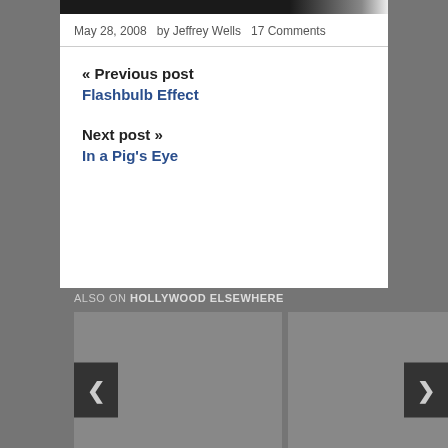[Figure (photo): Dark image strip at top of content area]
May 28, 2008   by Jeffrey Wells   17 Comments
« Previous post
Flashbulb Effect
Next post »
In a Pig's Eye
ALSO ON HOLLYWOOD ELSEWHERE
[Figure (screenshot): Two gray card thumbnails with left and right navigation arrows]
[Figure (screenshot): Right gray card thumbnail]